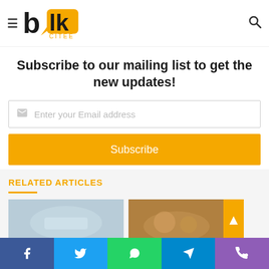blk citee logo with hamburger menu and search icon
Subscribe to our mailing list to get the new updates!
Enter your Email address
Subscribe
RELATED ARTICLES
[Figure (photo): Two thumbnail images for related articles]
Social share buttons: Facebook, Twitter, WhatsApp, Telegram, Viber